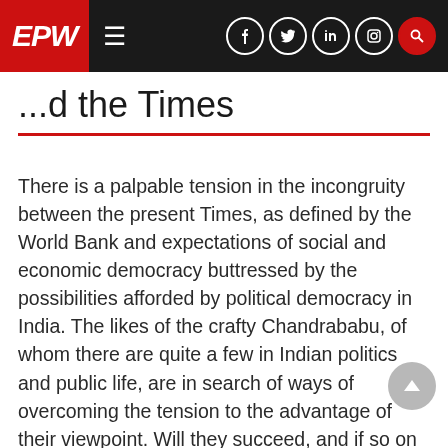EPW
...d the Times
There is a palpable tension in the incongruity between the present Times, as defined by the World Bank and expectations of social and economic democracy buttressed by the possibilities afforded by political democracy in India. The likes of the crafty Chandrababu, of whom there are quite a few in Indian politics and public life, are in search of ways of overcoming the tension to the advantage of their viewpoint. Will they succeed, and if so on what terms; if not, which of the two mutually incongrous terms will prevail are questions for the immediate future.